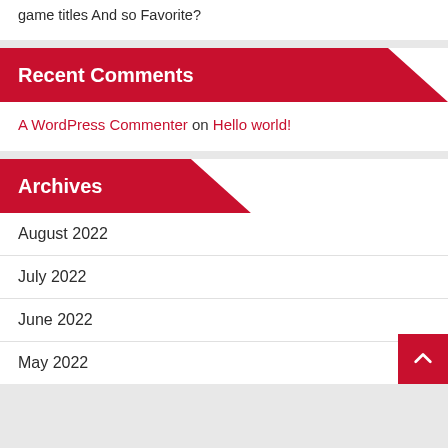game titles And so Favorite?
Recent Comments
A WordPress Commenter on Hello world!
Archives
August 2022
July 2022
June 2022
May 2022